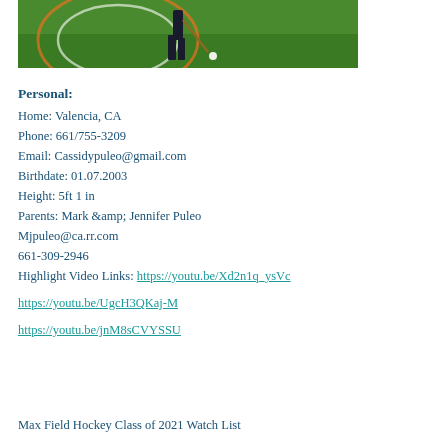[Figure (photo): Athlete playing field hockey on a painted turf field]
Personal:
Home: Valencia, CA
Phone: 661/755-3209
Email: Cassidypuleo@gmail.com
Birthdate: 01.07.2003
Height: 5ft 1 in
Parents: Mark &amp; Jennifer Puleo
Mjpuleo@ca.rr.com
661-309-2946
Highlight Video Links: https://youtu.be/Xd2n1q_ysVc
https://youtu.be/UgcH3QKaj-M
https://youtu.be/jnM8sCVYSSU
Max Field Hockey Class of 2021 Watch List